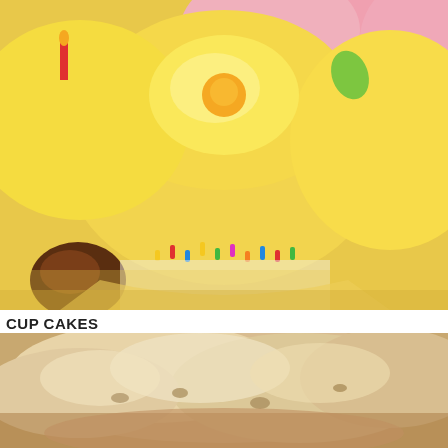[Figure (photo): Close-up photo of colorful cupcakes with yellow, pink frosting and sprinkles decorations]
CUP CAKES
$3.60
Store: Pasta Pantry Rose Bay
[Figure (photo): Close-up blurred photo of white/cream colored food item, possibly a pastry or baked good]